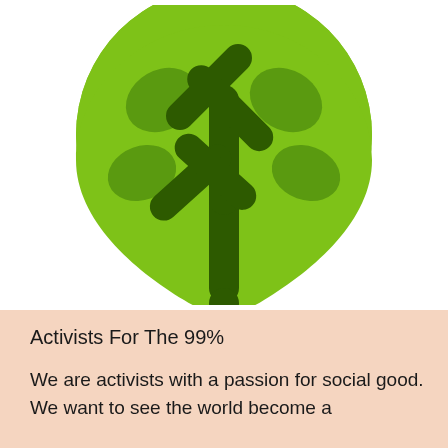[Figure (logo): A stylized green tree icon with a round bright green canopy and dark green branches forming a Y-shape with leaf clusters, set against a white background.]
Activists For The 99%
We are activists with a passion for social good. We want to see the world become a